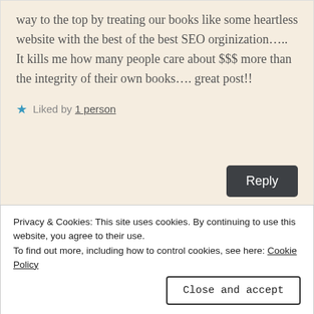way to the top by treating our books like some heartless website with the best of the best SEO orginization….. It kills me how many people care about $$$ more than the integrity of their own books…. great post!!
★ Liked by 1 person
Reply
Tara Sparling
April 19, 2017 at 2:43 pm
Privacy & Cookies: This site uses cookies. By continuing to use this website, you agree to their use.
To find out more, including how to control cookies, see here: Cookie Policy
Close and accept